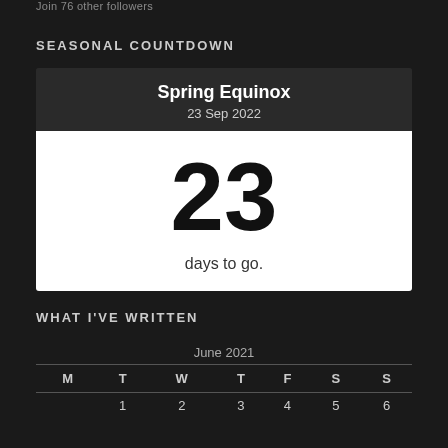Join 76 other followers
SEASONAL COUNTDOWN
Spring Equinox
23 Sep 2022
23
days to go.
WHAT I'VE WRITTEN
| M | T | W | T | F | S | S |
| --- | --- | --- | --- | --- | --- | --- |
|  | 1 | 2 | 3 | 4 | 5 | 6 |